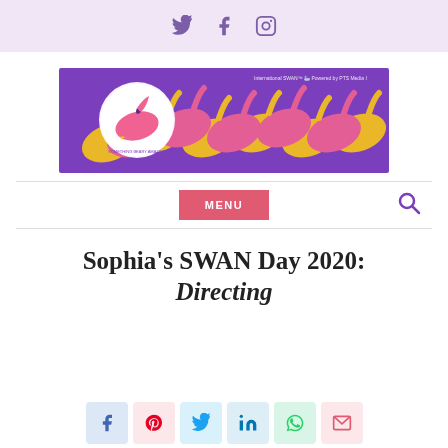Social media icons: Twitter, Facebook, Instagram
[Figure (illustration): SWAN Day 2020 banner with purple background and repeating pink and yellow swan pattern. A circular logo with a pink swan is shown on the left.]
MENU
Sophia's SWAN Day 2020: Directing
Share icons: Facebook, Pinterest, Twitter, LinkedIn, WhatsApp, Email